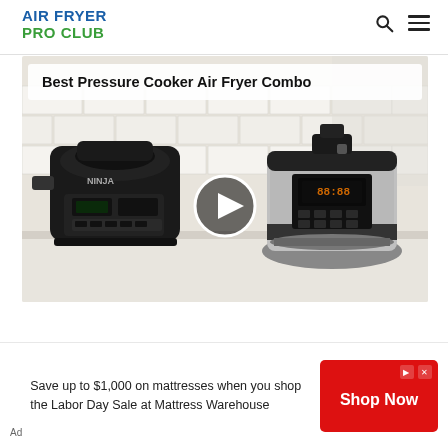AIR FRYER PRO CLUB
How Do Air Fryers Work
[Figure (photo): Video thumbnail showing two appliances: a Ninja pressure cooker air fryer combo (black) on the left and an Instant Pot (silver/stainless) on the right, on a white kitchen counter with subway tile backdrop. Title overlay reads 'Best Pressure Cooker Air Fryer Combo'. A circular play button is centered on the image.]
Save up to $1,000 on mattresses when you shop the Labor Day Sale at Mattress Warehouse